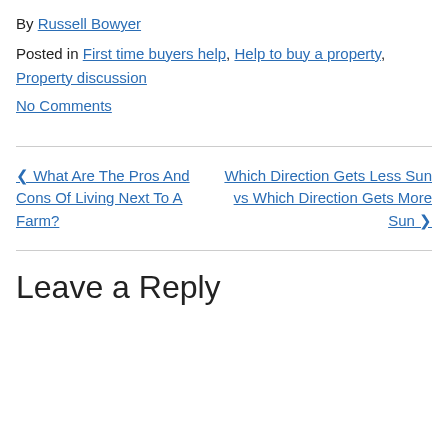By Russell Bowyer
Posted in First time buyers help, Help to buy a property, Property discussion
No Comments
◄ What Are The Pros And Cons Of Living Next To A Farm?
Which Direction Gets Less Sun vs Which Direction Gets More Sun ►
Leave a Reply